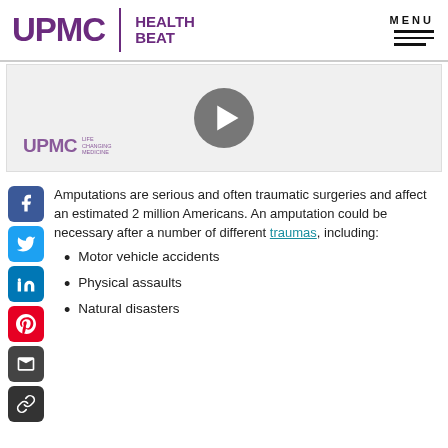UPMC | HEALTH BEAT
[Figure (screenshot): Video thumbnail showing UPMC Life Changing Medicine logo and a play button on gray background]
Amputations are serious and often traumatic surgeries and affect an estimated 2 million Americans. An amputation could be necessary after a number of different traumas, including:
Motor vehicle accidents
Physical assaults
Natural disasters